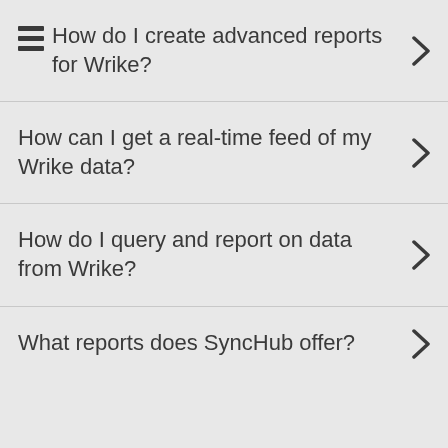How do I create advanced reports for Wrike?
How can I get a real-time feed of my Wrike data?
How do I query and report on data from Wrike?
What reports does SyncHub offer?